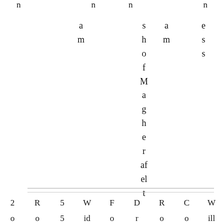a m (col1); s h o f M a g h e r af el t (col2); a m (col3); e s s (col4)
| 2 | R | 5 | W | F | D | R | C | W |
| --- | --- | --- | --- | --- | --- | --- | --- | --- |
| o | o | 5 | id | o | r | o | o | ill |